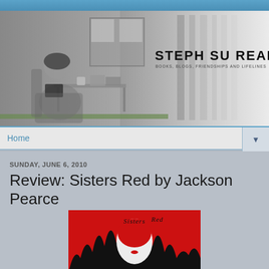[Figure (illustration): Blog header banner for 'Steph Su Reads' showing a grayscale illustration of a girl reading a book in an armchair near a window, with paintbrush stroke design elements and the blog title 'STEPH SU READS' with subtitle 'BOOKS, BLOGS, FRIENDSHIPS AND LIFELINES']
Home
SUNDAY, JUNE 6, 2010
Review: Sisters Red by Jackson Pearce
[Figure (photo): Book cover of 'Sisters Red' by Jackson Pearce — red background with decorative black script title text and a white silhouette of a girl's face surrounded by dark flowing hair/flames]